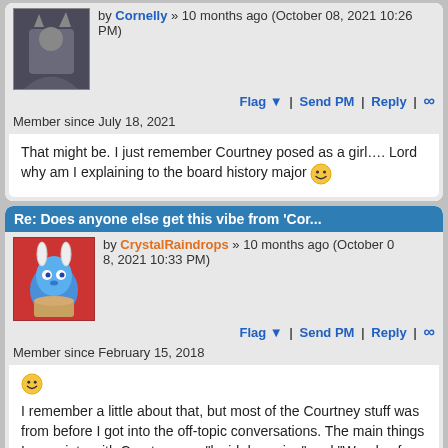by Cornelly » 10 months ago (October 08, 2021 10:26 PM)
Flag ▼ | Send PM | Reply | ∞
Member since July 18, 2021
That might be. I just remember Courtney posed as a girl…. Lord why am I explaining to the board history major 😄
Re: Does anyone else get this vibe from 'Cor...
by CrystalRaindrops » 10 months ago (October 08, 2021 10:33 PM)
Flag ▼ | Send PM | Reply | ∞
Member since February 15, 2018
😄 I remember a little about that, but most of the Courtney stuff was from before I got into the off-topic conversations. The main things I associate with Courtney are "lucid dreaming" and "Woods of Waste."
Re: Does anyone else get this vibe from 'Co...
by Ash-Boomstick » 10 months ago (October 08, 2021 10:35 PM)
Flag ▼ | Send PM | Reply | ∞